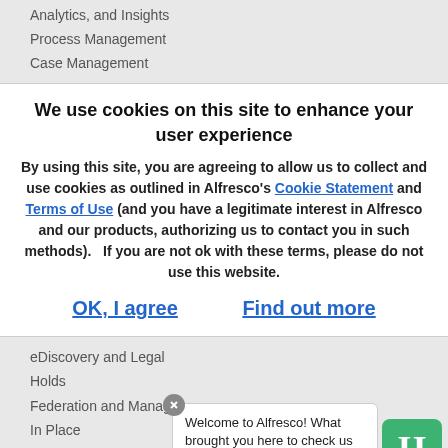Analytics, and Insights
Process Management
Case Management
We use cookies on this site to enhance your user experience
By using this site, you are agreeing to allow us to collect and use cookies as outlined in Alfresco's Cookie Statement and Terms of Use (and you have a legitimate interest in Alfresco and our products, authorizing us to contact you in such methods).   If you are not ok with these terms, please do not use this website.
OK, I agree
Find out more
eDiscovery and Legal
Holds
Federation and Manage
In Place
Open Source Editions
Welcome to Alfresco! What brought you here to check us out?